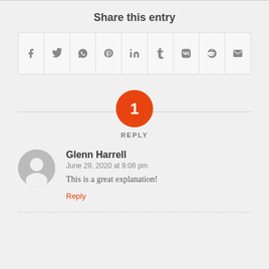Share this entry
[Figure (infographic): Social sharing icons row: Facebook, Twitter, WhatsApp, Pinterest, LinkedIn, Tumblr, VK, Reddit, Email]
1 REPLY
Glenn Harrell
June 29, 2020 at 9:08 pm
This is a great explanation!
Reply